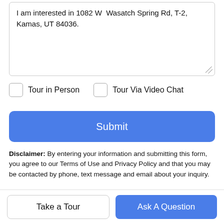I am interested in 1082 W  Wasatch Spring Rd, T-2, Kamas, UT 84036.
Tour in Person
Tour Via Video Chat
Submit
Disclaimer: By entering your information and submitting this form, you agree to our Terms of Use and Privacy Policy and that you may be contacted by phone, text message and email about your inquiry.
Based on information from the Wasatch Front Regional Multiple
Take a Tour
Ask A Question